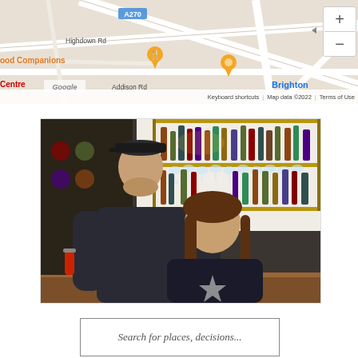[Figure (screenshot): Google Maps screenshot showing Brighton area with roads including A270, Highdown Rd, Addison Rd. Shows orange location pins for 'Food Companions' and another venue, zoom controls (+/-), Google logo, and footer with keyboard shortcuts, Map data ©2022, Terms of Use. Text labels: 'Brighton', 'Centre' in red.]
[Figure (photo): Photo of two people (man wearing dark flat-brim cap and dark t-shirt, woman with long brown hair wearing dark top with star design) standing in front of a bar with shelves of liquor bottles and hanging wine glasses in the background.]
Search for places, decisions...